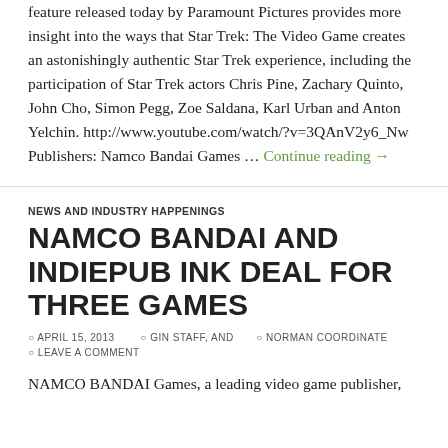feature released today by Paramount Pictures provides more insight into the ways that Star Trek: The Video Game creates an astonishingly authentic Star Trek experience, including the participation of Star Trek actors Chris Pine, Zachary Quinto, John Cho, Simon Pegg, Zoe Saldana, Karl Urban and Anton Yelchin. http://www.youtube.com/watch/?v=3QAnV2y6_Nw Publishers: Namco Bandai Games … Continue reading →
NEWS AND INDUSTRY HAPPENINGS
NAMCO BANDAI AND INDIEPUB INK DEAL FOR THREE GAMES
APRIL 15, 2013   GIN STAFF, AND   NORMAN COORDINATE   LEAVE A COMMENT
NAMCO BANDAI Games, a leading video game publisher,